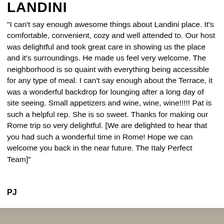LANDINI
"I can't say enough awesome things about Landini place. It's comfortable, convenient, cozy and well attended to. Our host was delightful and took great care in showing us the place and it's surroundings. He made us feel very welcome. The neighborhood is so quaint with everything being accessible for any type of meal. I can't say enough about the Terrace, it was a wonderful backdrop for lounging after a long day of site seeing. Small appetizers and wine, wine, wine!!!!! Pat is such a helpful rep. She is so sweet. Thanks for making our Rome trip so very delightful. [We are delighted to hear that you had such a wonderful time in Rome! Hope we can welcome you back in the near future. The Italy Perfect Team]"
PJ
[Figure (photo): Bottom strip image, appears to be a photo of a place (partially visible, cut off at bottom of page)]